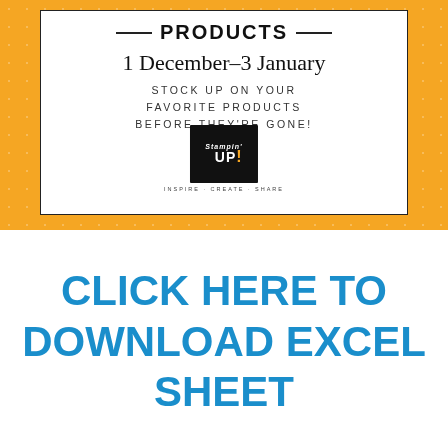[Figure (illustration): Stampin' Up! promotional banner on yellow/gold crosshatch background. White inner box with text: PRODUCTS, 1 December–3 January, STOCK UP ON YOUR FAVORITE PRODUCTS BEFORE THEY'RE GONE! Stampin' Up! logo at bottom of white box.]
CLICK HERE TO DOWNLOAD EXCEL SHEET